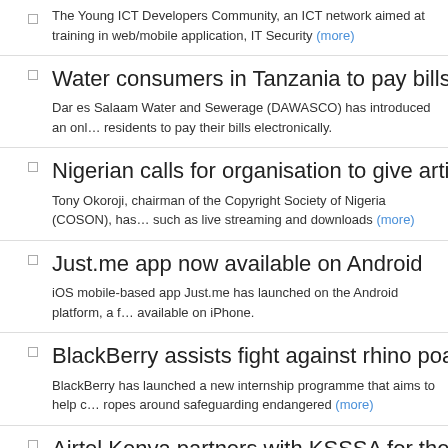The Young ICT Developers Community, an ICT network aimed at training in web/mobile application, IT Security (more)
Water consumers in Tanzania to pay bills electronica…
Dar es Salaam Water and Sewerage (DAWASCO) has introduced an onl… residents to pay their bills electronically.
Nigerian calls for organisation to give artists one voic…
Tony Okoroji, chairman of the Copyright Society of Nigeria (COSON), has… such as live streaming and downloads (more)
Just.me app now available on Android
iOS mobile-based app Just.me has launched on the Android platform, a f… available on iPhone.
BlackBerry assists fight against rhino poaching
BlackBerry has launched a new internship programme that aims to help c… ropes around safeguarding endangered (more)
Airtel Kenya partners with KSSSA for the upcoming g…